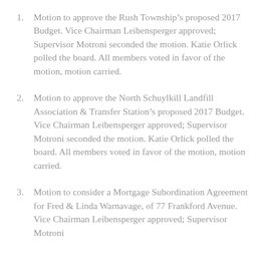Motion to approve the Rush Township’s proposed 2017 Budget. Vice Chairman Leibensperger approved; Supervisor Motroni seconded the motion. Katie Orlick polled the board. All members voted in favor of the motion, motion carried.
Motion to approve the North Schuylkill Landfill Association & Transfer Station’s proposed 2017 Budget. Vice Chairman Leibensperger approved; Supervisor Motroni seconded the motion. Katie Orlick polled the board. All members voted in favor of the motion, motion carried.
Motion to consider a Mortgage Subordination Agreement for Fred & Linda Warnavage, of 77 Frankford Avenue. Vice Chairman Leibensperger approved; Supervisor Motroni seconded the motion. Katie Orlick polled the board.